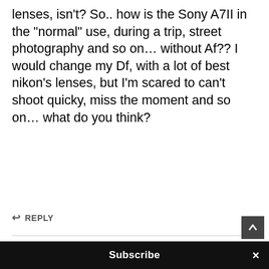lenses, isn't? So.. how is the Sony A7II in the "normal" use, during a trip, street photography and so on... without Af?? I would change my Df, with a lot of best nikon's lenses, but I'm scary about it... I'm scared to can't shoot quicky, miss the moment and so on... what do you think?
↩ REPLY
Steve Huff ☆ says:
DECEMBER 16, 2014 AT 6:32 PM
Well, me, I would not buy Nikon lenses for the A7II (AF lenses, I have a few old RF lenses from Nikon for it) as it would make it big and bulky. If you are
Subscribe